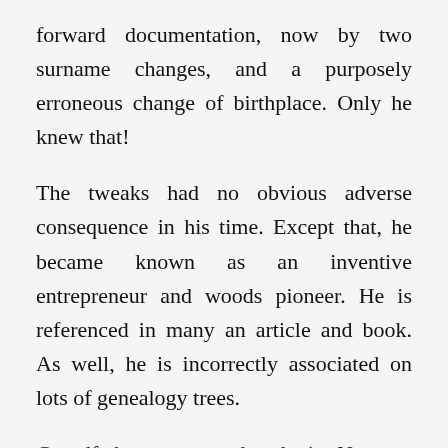forward documentation, now by two surname changes, and a purposely erroneous change of birthplace. Only he knew that!
The tweaks had no obvious adverse consequence in his time. Except that, he became known as an inventive entrepreneur and woods pioneer. He is referenced in many an article and book. As well, he is incorrectly associated on lots of genealogy trees.
Grandfather spent a decade in Norway, two in the US and six in Canada. His life accomplishments were based on a fourth grade education acquired in Norway. When he left at ten, the twig was bent. What owes to Norway's pride, is referenced to the